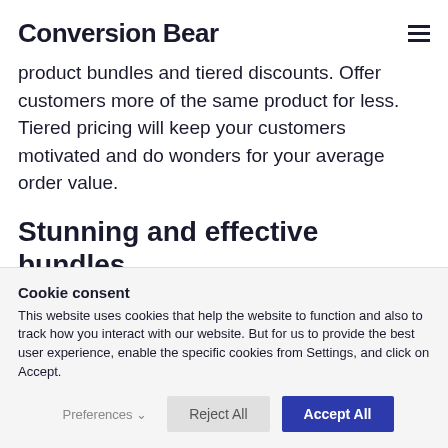Conversion Bear
product bundles and tiered discounts. Offer customers more of the same product for less. Tiered pricing will keep your customers motivated and do wonders for your average order value.
Stunning and effective bundles
Cookie consent
This website uses cookies that help the website to function and also to track how you interact with our website. But for us to provide the best user experience, enable the specific cookies from Settings, and click on Accept.
Preferences  Reject All  Accept All